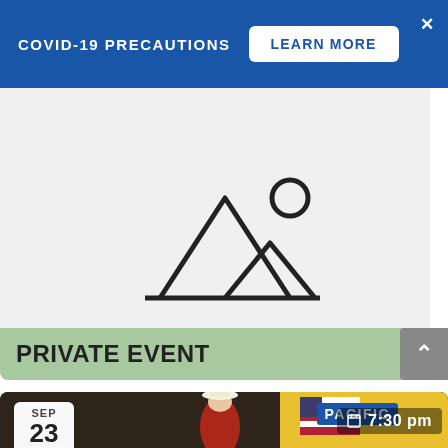COVID-19 PRECAUTIONS   LEARN MORE
[Figure (illustration): Image placeholder icon: mountain landscape outline with sun/circle, on light gray background]
PRIVATE EVENT
[Figure (photo): Rodeo event photo with cowboy in red jacket and white hat raising hands, American flag and PACIFIC signage in background. Date badge shows SEP 23, time badge shows 7:30 pm]